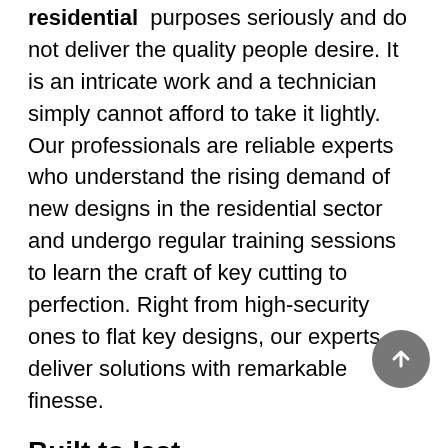residential purposes seriously and do not deliver the quality people desire. It is an intricate work and a technician simply cannot afford to take it lightly. Our professionals are reliable experts who understand the rising demand of new designs in the residential sector and undergo regular training sessions to learn the craft of key cutting to perfection. Right from high-security ones to flat key designs, our experts deliver solutions with remarkable finesse.
Built to last
In order to provide excellent key cutting services for residential clients, one must always stress on quality and attention to detail. Our experts ensure that every key is cast properly and calibrated without any defects. We also run several operational checks to make sure that the finished product does not have sharp or sloppy edges.
Be it a mechanical or electronic variant, Newark Expert Locksmith crafts them to